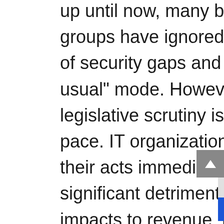up until now, many business units and IT groups have ignored the business implications of security gaps and operated in a “business as usual” mode. However, customer lawsuits and legislative scrutiny is changing that at a rapid pace. IT organizations must begin to clean up their acts immediately or otherwise face significant detrimental, perhaps irrecoverable, impacts to revenue, profitability, reputation, and legal standing. Cultural changes, executive buy-in, and acceptance of security accountability by developers and others along, across, and up the software development lifecycle (SDLC) chain will be necessary. Issues related to progressive infrastructure adoptions, including cloud, hybrid-cloud, SaaS, and Edge frameworks, necessitate that enterprise IT executives shepherd evolved